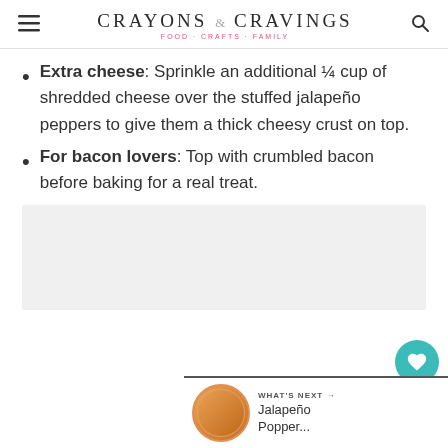CRAYONS & CRAVINGS — FOOD CRAFTS FAMILY
Extra cheese: Sprinkle an additional ¼ cup of shredded cheese over the stuffed jalapeño peppers to give them a thick cheesy crust on top.
For bacon lovers: Top with crumbled bacon before baking for a real treat.
[Figure (photo): Food photo placeholder at the bottom of the page]
[Figure (infographic): Floating like/share widget with heart icon showing 266 likes and a share button]
[Figure (infographic): WHAT'S NEXT banner showing Jalapeño Popper... with a circular thumbnail image]